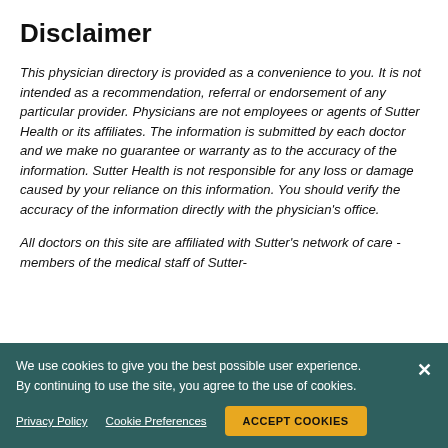Disclaimer
This physician directory is provided as a convenience to you. It is not intended as a recommendation, referral or endorsement of any particular provider. Physicians are not employees or agents of Sutter Health or its affiliates. The information is submitted by each doctor and we make no guarantee or warranty as to the accuracy of the information. Sutter Health is not responsible for any loss or damage caused by your reliance on this information. You should verify the accuracy of the information directly with the physician's office.
All doctors on this site are affiliated with Sutter's network of care - members of the medical staff of Sutter-affiliated hospitals, independent members of the Sutter Health medical staff, or clinical initiatives. Doctors on our site are or have agreed to be included and
We use cookies to give you the best possible user experience. By continuing to use the site, you agree to the use of cookies.
Privacy Policy  Cookie Preferences  ACCEPT COOKIES